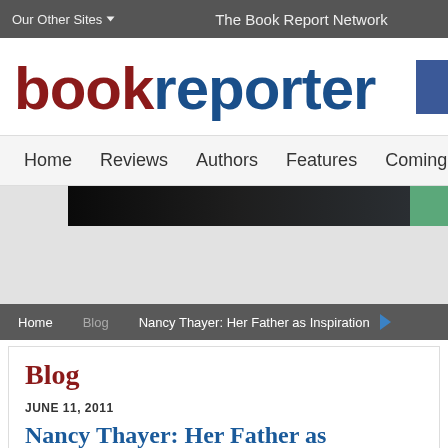Our Other Sites  |  The Book Report Network
bookreporter
Home  Reviews  Authors  Features  Coming Soon  Conte
[Figure (photo): Banner image with dark background and green stripe on right]
Home  Blog  Nancy Thayer: Her Father as Inspiration
Blog
JUNE 11, 2011
Nancy Thayer: Her Father as Inspiration
Comments